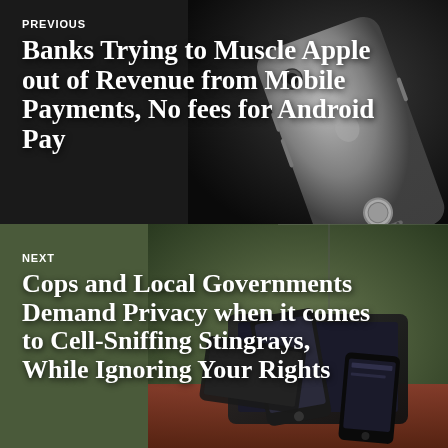[Figure (photo): Dark background with smartphone (iPhone) viewed from the back, bottom-right composition]
PREVIOUS
Banks Trying to Muscle Apple out of Revenue from Mobile Payments, No fees for Android Pay
[Figure (photo): Window background with multiple smartphones and tablets piled on a wooden surface]
NEXT
Cops and Local Governments Demand Privacy when it comes to Cell-Sniffing Stingrays, While Ignoring Your Rights